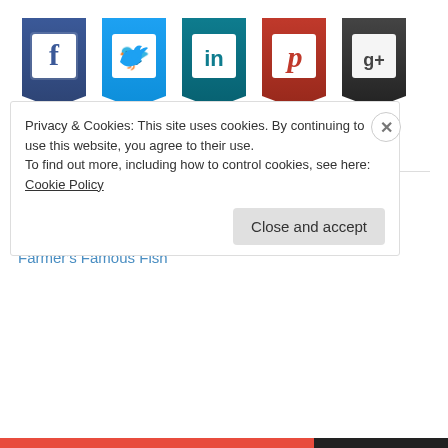[Figure (illustration): Five social media badge icons: Facebook (dark blue), Twitter (light blue), LinkedIn (teal), Pinterest (red), Google+ (dark gray), each shaped like a hanging tag/banner with the platform logo inside a white square]
[Figure (illustration): Bloglovin follow button: rectangular button with border reading 'Follow me on bloglovin' with bloglovin in blue]
Top Posts & Pages
OOTD - Two Tone Trends
Farmer's Famous Fish
Privacy & Cookies: This site uses cookies. By continuing to use this website, you agree to their use. To find out more, including how to control cookies, see here: Cookie Policy
Close and accept